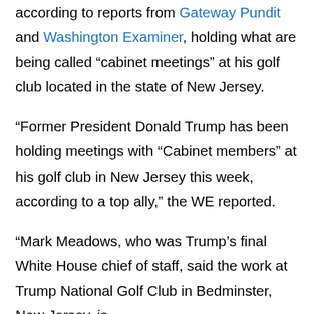according to reports from Gateway Pundit and Washington Examiner, holding what are being called “cabinet meetings” at his golf club located in the state of New Jersey.

“Former President Donald Trump has been holding meetings with “Cabinet members” at his golf club in New Jersey this week, according to a top ally,” the WE reported.

“Mark Meadows, who was Trump’s final White House chief of staff, said the work at Trump National Golf Club in Bedminster, New Jersey, is